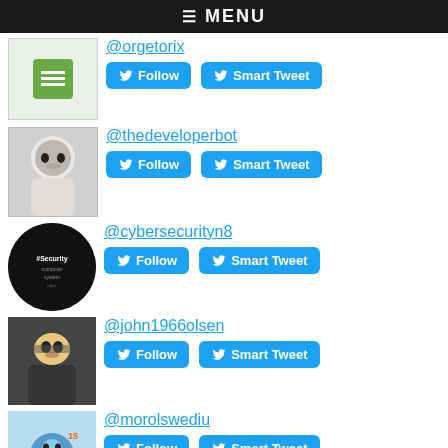≡ MENU
@orgetorix
@thedeveloperbot
@cybersecurityn8
@john1966olsen
@morolswediu
Top Tweeters in G1:
@sectest9
@cybersec_feeds